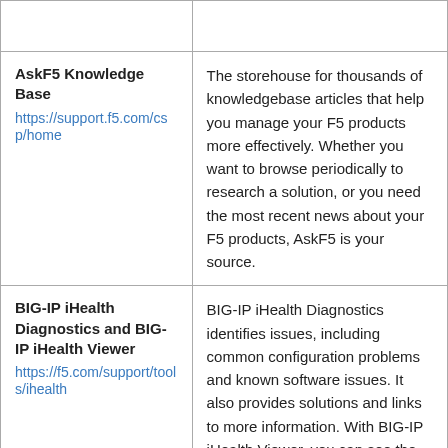| Resource | Description |
| --- | --- |
| AskF5 Knowledge Base
https://support.f5.com/csp/home | The storehouse for thousands of knowledgebase articles that help you manage your F5 products more effectively. Whether you want to browse periodically to research a solution, or you need the most recent news about your F5 products, AskF5 is your source. |
| BIG-IP iHealth Diagnostics and BIG-IP iHealth Viewer
https://f5.com/support/tools/ihealth | BIG-IP iHealth Diagnostics identifies issues, including common configuration problems and known software issues. It also provides solutions and links to more information. With BIG-IP iHealth Viewer, you can see the status of your |